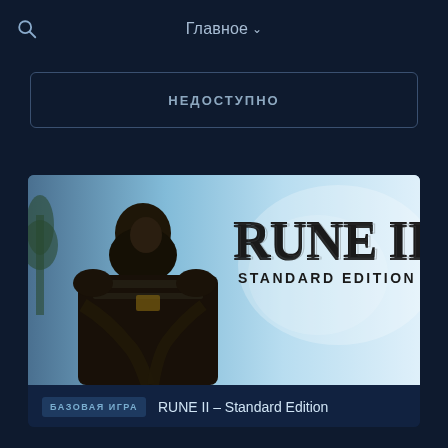Главное
НЕДОСТУПНО
[Figure (screenshot): RUNE II Standard Edition game banner with a Viking warrior in dark armor on a blue sky background]
БАЗОВАЯ ИГРА  RUNE II – Standard Edition